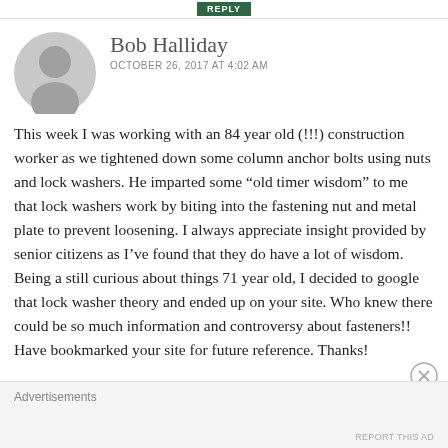REPLY
Bob Halliday
OCTOBER 26, 2017 AT 4:02 AM
This week I was working with an 84 year old (!!!) construction worker as we tightened down some column anchor bolts using nuts and lock washers. He imparted some “old timer wisdom” to me that lock washers work by biting into the fastening nut and metal plate to prevent loosening. I always appreciate insight provided by senior citizens as I’ve found that they do have a lot of wisdom. Being a still curious about things 71 year old, I decided to google that lock washer theory and ended up on your site. Who knew there could be so much information and controversy about fasteners!! Have bookmarked your site for future reference. Thanks!
Advertisements